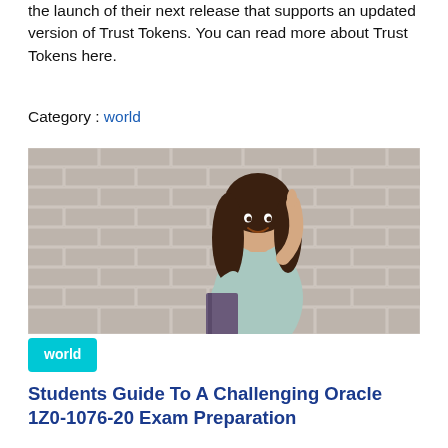the launch of their next release that supports an updated version of Trust Tokens. You can read more about Trust Tokens here.
Category : world
[Figure (photo): A smiling young woman with long hair leaning against a brick wall, holding a book and pointing upward with one finger, wearing a light blue top.]
world
Students Guide To A Challenging Oracle 1Z0-1076-20 Exam Preparation